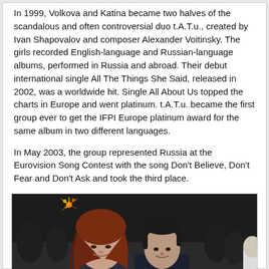In 1999, Volkova and Katina became two halves of the scandalous and often controversial duo t.A.T.u., created by Ivan Shapovalov and composer Alexander Voitinsky. The girls recorded English-language and Russian-language albums, performed in Russia and abroad. Their debut international single All The Things She Said, released in 2002, was a worldwide hit. Single All About Us topped the charts in Europe and went platinum. t.A.T.u. became the first group ever to get the IFPI Europe platinum award for the same album in two different languages.
In May 2003, the group represented Russia at the Eurovision Song Contest with the song Don't Believe, Don't Fear and Don't Ask and took the third place.
[Figure (photo): Photo of two young women, one with long auburn/red hair and one with short dark hair, in a dark event setting with crowd in background and a small decorative light visible in top-left.]